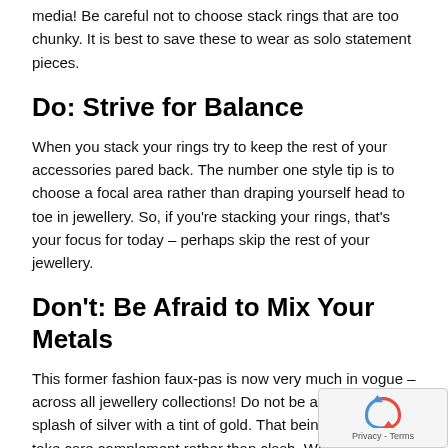media! Be careful not to choose stack rings that are too chunky. It is best to save these to wear as solo statement pieces.
Do: Strive for Balance
When you stack your rings try to keep the rest of your accessories pared back. The number one style tip is to choose a focal area rather than draping yourself head to toe in jewellery. So, if you're stacking your rings, that's your focus for today – perhaps skip the rest of your jewellery.
Don't: Be Afraid to Mix Your Metals
This former fashion faux-pas is now very much in vogue – across all jewellery collections! Do not be afraid to mix a splash of silver with a tint of gold. That being said – do take care complement rather than clash. When mixing gold and sil stack rings you should ensure there is some balance between